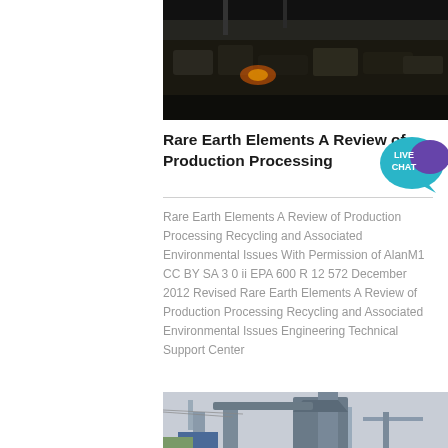[Figure (photo): Top portion of an industrial mining/processing site photograph showing dark rocky material and machinery, partially cropped at top]
Rare Earth Elements A Review of Production Processing
Rare Earth Elements A Review of Production Processing Recycling and Associated Environmental Issues With Permission of AlanM1 CC BY SA 3 0 ii EPA 600 R 12 572 December 2012 Revised Rare Earth Elements A Review of Production Processing Recycling and Associated Environmental Issues Engineering Technical Support Center
[Figure (photo): Industrial processing facility photograph showing large metal storage tanks, conveyor structures, pipes and industrial equipment against an overcast sky]